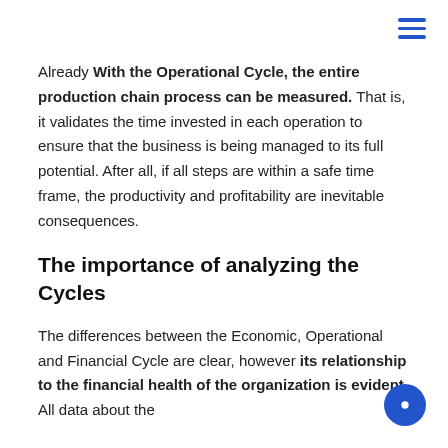Already With the Operational Cycle, the entire production chain process can be measured. That is, it validates the time invested in each operation to ensure that the business is being managed to its full potential. After all, if all steps are within a safe time frame, the productivity and profitability are inevitable consequences.
The importance of analyzing the Cycles
The differences between the Economic, Operational and Financial Cycle are clear, however its relationship to the financial health of the organization is evident. All data about the